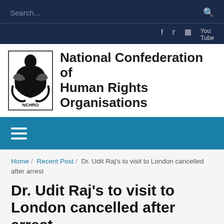Search...
[Figure (logo): NCHRO logo with text: National Confederation of Human Rights Organisations]
Navigation menu (hamburger icon)
Home / Recent Post / Dr. Udit Raj's to visit to London cancelled after arrest
Dr. Udit Raj's to visit to London cancelled after arrest